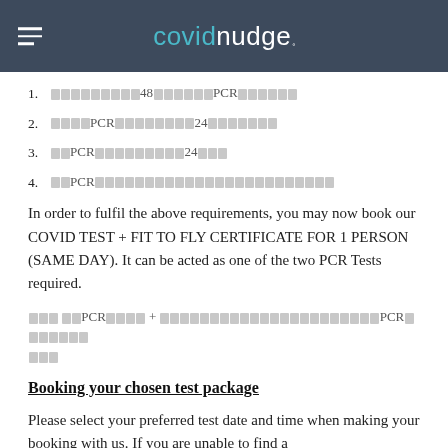covidnudge
1. [unreadable]48[unreadable]PCR[unreadable]
2. [unreadable]PCR[unreadable]24[unreadable]
3. [unreadable]PCR[unreadable]24[unreadable]
4. [unreadable]PCR[unreadable]
In order to fulfil the above requirements, you may now book our COVID TEST + FIT TO FLY CERTIFICATE FOR 1 PERSON (SAME DAY). It can be acted as one of the two PCR Tests required.
[unreadable] [unreadable]PCR[unreadable] + [unreadable]PCR[unreadable]
Booking your chosen test package
Please select your preferred test date and time when making your booking with us. If you are unable to find a